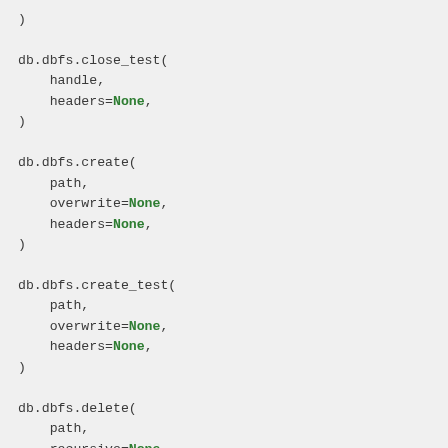)

db.dbfs.close_test(
    handle,
    headers=None,
)

db.dbfs.create(
    path,
    overwrite=None,
    headers=None,
)

db.dbfs.create_test(
    path,
    overwrite=None,
    headers=None,
)

db.dbfs.delete(
    path,
    recursive=None,
    headers=None,